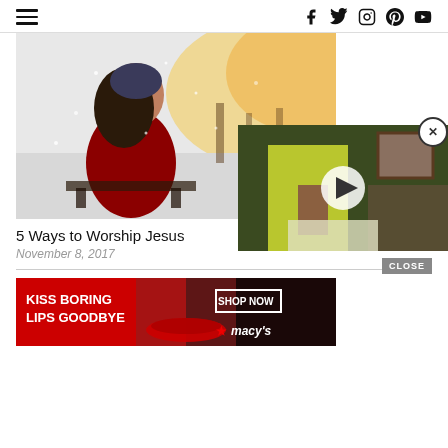Navigation header with hamburger menu and social icons: f (Facebook), Twitter, Instagram, Pinterest, YouTube
[Figure (photo): Woman in red top and blue beanie sitting in snow, golden sunlight in background]
[Figure (photo): Video overlay showing person in yellow shirt with play button; close X button top right]
5 Ways to Worship Jesus
November 8, 2017
[Figure (photo): Advertisement banner: KISS BORING LIPS GOODBYE with SHOP NOW button and Macy's star logo on red background]